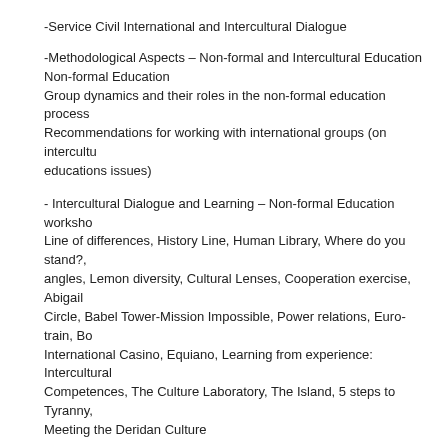-Service Civil International and Intercultural Dialogue
-Methodological Aspects – Non-formal and Intercultural Education Non-formal Education
Group dynamics and their roles in the non-formal education process
Recommendations for working with international groups (on intercultural educations issues)
- Intercultural Dialogue and Learning – Non-formal Education workshop
Line of differences, History Line, Human Library, Where do you stand?, angles, Lemon diversity, Cultural Lenses, Cooperation exercise, Abigail Circle, Babel Tower-Mission Impossible, Power relations, Euro-train, Bop International Casino, Equiano, Learning from experience: Intercultural Competences, The Culture Laboratory, The Island, 5 steps to Tyranny, Meeting the Deridan Culture
Resource list
Available downloads:
Final_Toolkit_compressed.pdf